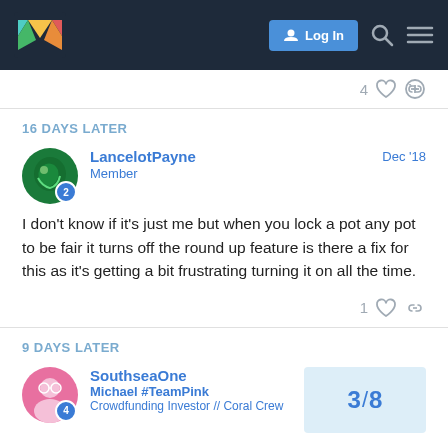Monzo community forum header with Log In button
4 likes
16 DAYS LATER
LancelotPayne  Member  Dec '18
I don't know if it's just me but when you lock a pot any pot to be fair it turns off the round up feature is there a fix for this as it's getting a bit frustrating turning it on all the time.
1 like
9 DAYS LATER
SouthseaOne  Michael #TeamPink  Crowdfunding Investor // Coral Crew  3/8